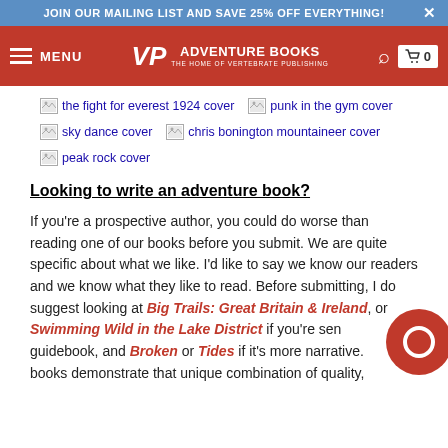JOIN OUR MAILING LIST AND SAVE 25% OFF EVERYTHING!
[Figure (screenshot): Navigation bar with menu, Adventure Books / Vertebrate Publishing logo, search icon, and cart (0) on red background]
[Figure (photo): Broken image placeholders for book covers: the fight for everest 1924 cover, punk in the gym cover, sky dance cover, chris bonington mountaineer cover, peak rock cover]
Looking to write an adventure book?
If you're a prospective author, you could do worse than reading one of our books before you submit. We are quite specific about what we like. I'd like to say we know our readers and we know what they like to read. Before submitting, I do suggest looking at Big Trails: Great Britain & Ireland, or Swimming Wild in the Lake District if you're sending a guidebook, and Broken or Tides if it's more narrative. These books demonstrate that unique combination of quality,